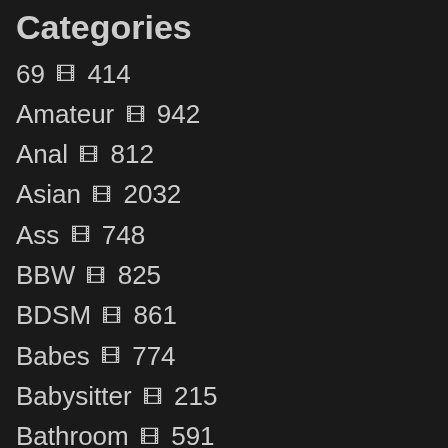Categories
69  414
Amateur  942
Anal  812
Asian  2032
Ass  748
BBW  825
BDSM  861
Babes  774
Babysitter  215
Bathroom  591
Beach  144
Big Cock  615
Big Tits  763
Bikini  257
Blonde  348
Blowjob  642
Brunette  607